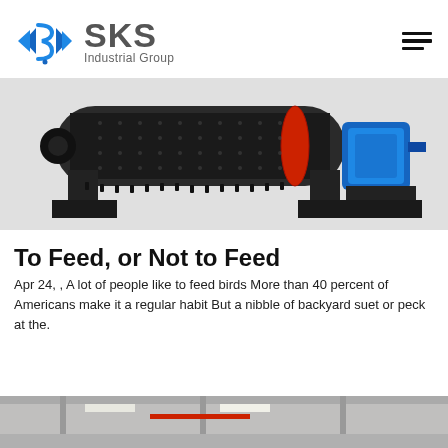[Figure (logo): SKS Industrial Group logo with blue diamond/arrow icon and grey text]
[Figure (photo): Industrial ball mill machine, large dark cylindrical grinder with blue motor unit on right side, on black frame stands]
To Feed, or Not to Feed
Apr 24, , A lot of people like to feed birds More than 40 percent of Americans make it a regular habit But a nibble of backyard suet or peck at the.
[Figure (photo): Interior of industrial facility, partial view at bottom of page]